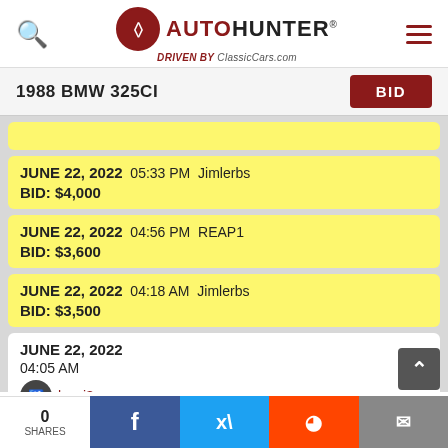AutoHunter — Driven by ClassicCars.com
1988 BMW 325CI — BID
JUNE 22, 2022  05:33 PM  Jimlerbs
BID: $4,000
JUNE 22, 2022  04:56 PM  REAP1
BID: $3,600
JUNE 22, 2022  04:18 AM  Jimlerbs
BID: $3,500
JUNE 22, 2022
04:05 AM
harri3
SELLER
0 SHARES  Facebook  Twitter  Reddit  Share